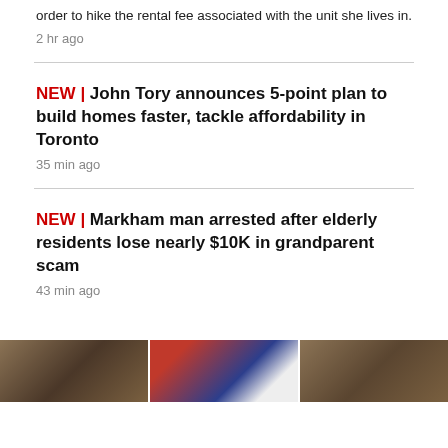order to hike the rental fee associated with the unit she lives in.
2 hr ago
NEW | John Tory announces 5-point plan to build homes faster, tackle affordability in Toronto
35 min ago
NEW | Markham man arrested after elderly residents lose nearly $10K in grandparent scam
43 min ago
MONTREAL
[Figure (photo): Photo strip showing three segments of what appears to be architectural or event imagery]